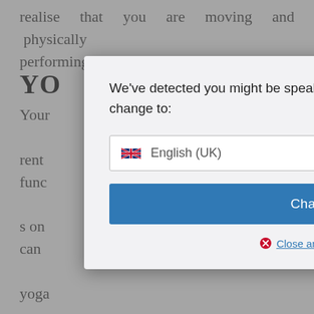realise that you are moving and physically performing the movements.
YO
Your ... rent func ... s on can ... yoga prac ... ough subt ... t to do a ... ctice deep breathing techniques that will help you take your mind away from the stressors of daily life. It is an exercise that when you practice it becomes a habit to think about it, trying to remember the mental image you had of yourself doing yoga
[Figure (screenshot): A language-change modal dialog overlaying a text page. The modal has a prompt reading 'We've detected you might be speaking a different language. Do you want to change to:' followed by a dropdown selector showing a UK flag and 'English (UK)', a blue 'Change Language' button, and a 'Close and do not switch language' link with a red X icon.]